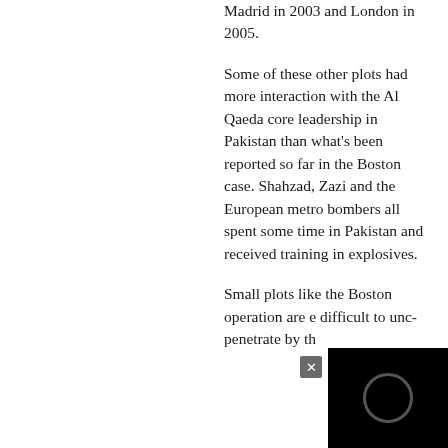Madrid in 2003 and London in 2005.
Some of these other plots had more interaction with the Al Qaeda core leadership in Pakistan than what's been reported so far in the Boston case. Shahzad, Zazi and the European metro bombers all spent some time in Pakistan and received training in explosives.
Small plots like the Boston operation are e… difficult to unc… penetrate by th…